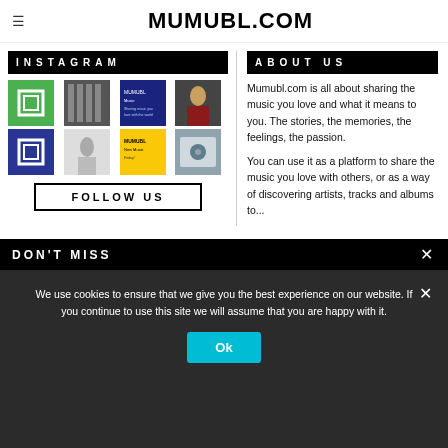MUMUBL.COM
INSTAGRAM
[Figure (photo): Instagram grid of 8 thumbnail images in a 4x2 grid showing music-related content including green icon, shelving, blue graphic, portrait, blue icon, dancer, yellow flyer, album cover]
FOLLOW US
ABOUT US
Mumubl.com is all about sharing the music you love and what it means to you. The stories, the memories, the feelings, the passion.
You can use it as a platform to share the music you love with others, or as a way of discovering artists, tracks and albums to...
DON'T MISS
We use cookies to ensure that we give you the best experience on our website. If you continue to use this site we will assume that you are happy with it.